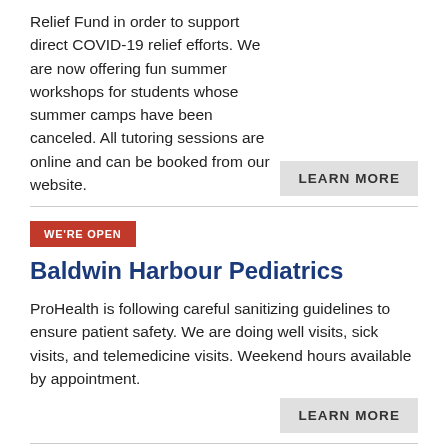Relief Fund in order to support direct COVID-19 relief efforts. We are now offering fun summer workshops for students whose summer camps have been canceled. All tutoring sessions are online and can be booked from our website.
LEARN MORE
WE'RE OPEN
Baldwin Harbour Pediatrics
ProHealth is following careful sanitizing guidelines to ensure patient safety. We are doing well visits, sick visits, and telemedicine visits. Weekend hours available by appointment.
LEARN MORE
TAKING NEW CLIENTS
BY APPOINTMENT ONLY
WE'RE OPEN
Peter M. Budraitis Photography - Portraits